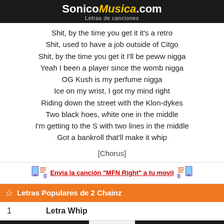SonicoMusica.com Letras de canciones
Shit, by the time you get it it's a retro
Shit, used to have a job outside of Citgo
Shit, by the time you get it I'll be peww nigga
Yeah I been a player since the womb nigga
OG Kush is my perfume nigga
Ice on my wrist, I got my mind right
Riding down the street with the Klon-dykes
Two black hoes, white one in the middle
I'm getting to the S with two lines in the middle
Got a bankroll that'll make it whip
[Chorus]
Envia la canción "MFN Right" a tu movil
Letras Populares de 2 Chainz
1  Letra Whip